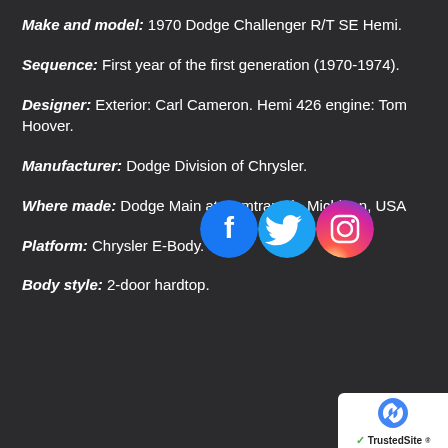Make and model: 1970 Dodge Challenger R/T SE Hemi.
Sequence: First year of the first generation (1970-1974).
[Figure (illustration): Social media icons: Facebook (blue circle with f), Twitter (light blue circle with bird), Instagram (gradient purple/pink circle with camera outline)]
Designer: Exterior: Carl Cameron. Hemi 426 engine: Tom Hoover.
Manufacturer: Dodge Division of Chrysler.
Where made: Dodge Main at Hamtramck, Michigan, USA
Platform: Chrysler E-Body.
Body style: 2-door hardtop.
[Figure (logo): TrustedSite badge with reCAPTCHA logo and green checkmark]